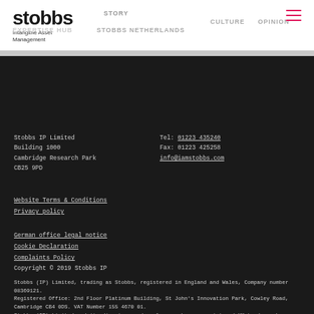stobbs Intangible Asset Management | STORY | STOBBS NETHERLANDS | CULTURE | OPINION
Stobbs IP Limited
Building 1000
Cambridge Research Park
CB25 9PD
Tel: 01223 435240
Fax: 01223 425258
info@iamstobbs.com
Website Terms & Conditions
Privacy policy
German office legal notice
Cookie Declaration
Complaints Policy
Copyright © 2019 Stobbs IP
Stobbs (IP) Limited, trading as Stobbs, registered in England and Wales, Company number 08369121.
Registered Office: 2nd Floor Platinum Building, St John's Innovation Park, Cowley Road, Cambridge CB4 0DS. VAT Number 155 4670 01.
Stobbs (IP) Limited and its directors and employees who are registered UK trade mark attorneys are regulated by IPReg www.ipreg.org.uk
[Figure (logo): Twitter and LinkedIn social media icons in white on dark background]